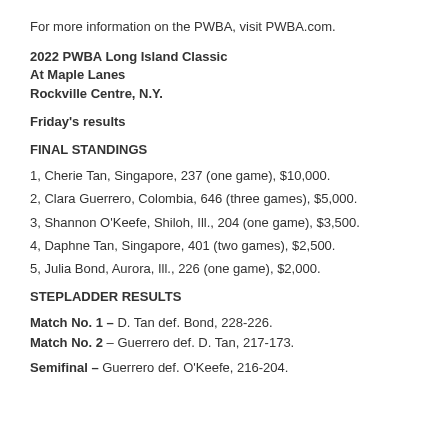For more information on the PWBA, visit PWBA.com.
2022 PWBA Long Island Classic
At Maple Lanes
Rockville Centre, N.Y.
Friday's results
FINAL STANDINGS
1, Cherie Tan, Singapore, 237 (one game), $10,000.
2, Clara Guerrero, Colombia, 646 (three games), $5,000.
3, Shannon O'Keefe, Shiloh, Ill., 204 (one game), $3,500.
4, Daphne Tan, Singapore, 401 (two games), $2,500.
5, Julia Bond, Aurora, Ill., 226 (one game), $2,000.
STEPLADDER RESULTS
Match No. 1 – D. Tan def. Bond, 228-226.
Match No. 2 – Guerrero def. D. Tan, 217-173.
Semifinal – Guerrero def. O'Keefe, 216-204.